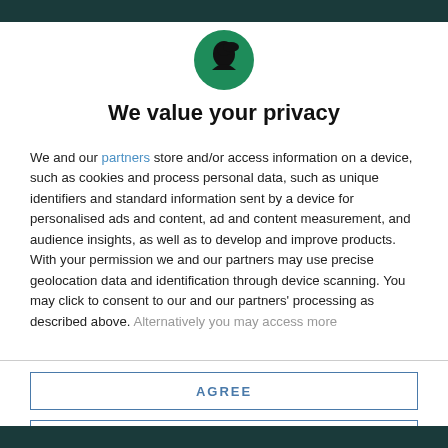[Figure (logo): Round green circle with black silhouette of a person wearing a hat (logo icon)]
We value your privacy
We and our partners store and/or access information on a device, such as cookies and process personal data, such as unique identifiers and standard information sent by a device for personalised ads and content, ad and content measurement, and audience insights, as well as to develop and improve products. With your permission we and our partners may use precise geolocation data and identification through device scanning. You may click to consent to our and our partners' processing as described above. Alternatively you may access more
AGREE
MORE OPTIONS